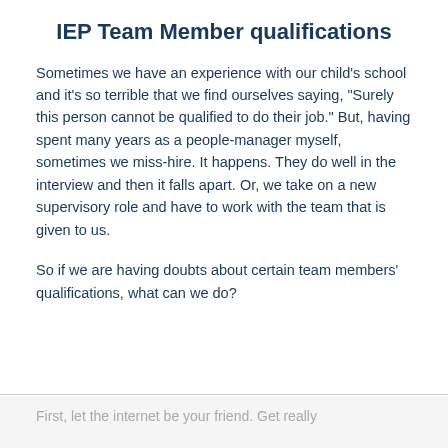IEP Team Member qualifications
Sometimes we have an experience with our child’s school and it’s so terrible that we find ourselves saying, “Surely this person cannot be qualified to do their job.” But, having spent many years as a people-manager myself, sometimes we miss-hire. It happens. They do well in the interview and then it falls apart. Or, we take on a new supervisory role and have to work with the team that is given to us.
So if we are having doubts about certain team members’ qualifications, what can we do?
First, let the internet be your friend. Get really